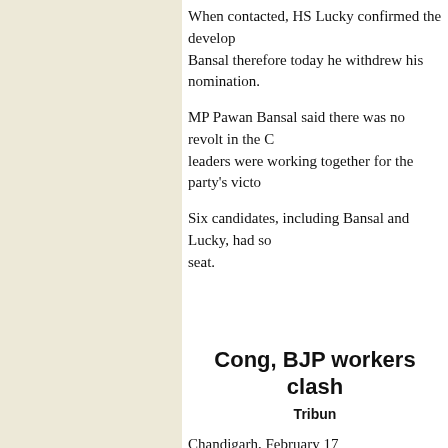When contacted, HS Lucky confirmed the development. Bansal therefore today he withdrew his nomination.
MP Pawan Bansal said there was no revolt in the Congress and leaders were working together for the party's victory.
Six candidates, including Bansal and Lucky, had sought the seat.
Cong, BJP workers clash
Tribune
Chandigarh, February 17
It was a day of tension and drama at Mauli Jagran as Congress Mayor HC Kalyan, which was opposed by BJP, between the two fronts turned ugly when the Congress Community Centre at Mauli Jagran.
The Mayor was supposed to inaugurate the project today, which were already inaugurated by the BJP
The BJP supporters reached the community centre gates to restrict the entry of the Mayor. Soon, the Congress raised slogans. Witnessing the situation getting tensed, the asked both the Congress and BJP councillors to am